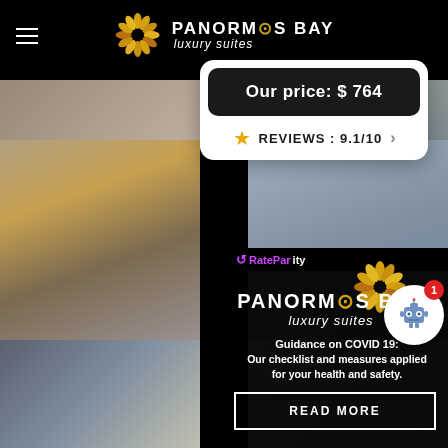PANORMOS BAY luxury suites
[Figure (screenshot): Hotel website screenshot showing Panormos Bay Luxury Suites with price popup showing $764, review score 9.1/10, RateParity logo, and COVID-19 guidance overlay with READ MORE button]
Our price: $ 764
REVIEWS: 9.1/10
RateParity
PANORMOS BAY luxury suites
Guidance on COVID 19: Our checklist and measures applied for your health and safety.
READ MORE